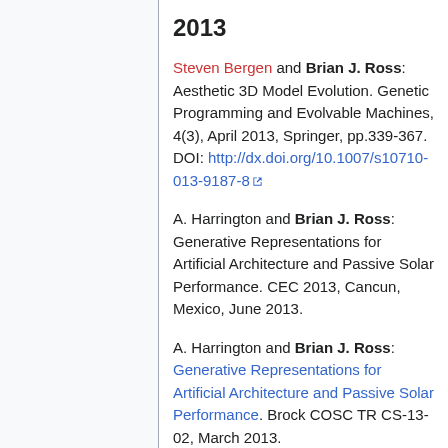2013
Steven Bergen and Brian J. Ross: Aesthetic 3D Model Evolution. Genetic Programming and Evolvable Machines, 4(3), April 2013, Springer, pp.339-367. DOI: http://dx.doi.org/10.1007/s10710-013-9187-8
A. Harrington and Brian J. Ross: Generative Representations for Artificial Architecture and Passive Solar Performance. CEC 2013, Cancun, Mexico, June 2013.
A. Harrington and Brian J. Ross: Generative Representations for Artificial Architecture and Passive Solar Performance. Brock COSC TR CS-13-02, March 2013. http://www.cosc.brocku.ca/files/download